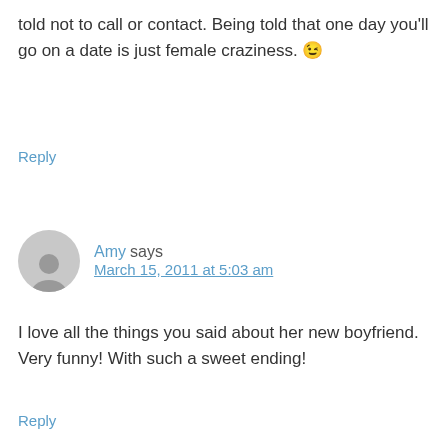told not to call or contact. Being told that one day you'll go on a date is just female craziness. 😉
Reply
Amy says
March 15, 2011 at 5:03 am
I love all the things you said about her new boyfriend. Very funny! With such a sweet ending!
Reply